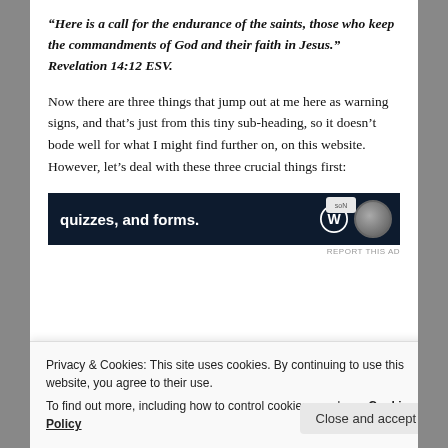“Here is a call for the endurance of the saints, those who keep the commandments of God and their faith in Jesus.” Revelation 14:12 ESV.
Now there are three things that jump out at me here as warning signs, and that’s just from this tiny sub-heading, so it doesn’t bode well for what I might find further on, on this website. However, let’s deal with these three crucial things first:
[Figure (screenshot): Dark blue advertisement banner showing text 'quizzes, and forms.' with WordPress logo and a circular avatar image. 'REPORT THIS AD' text below.]
Privacy & Cookies: This site uses cookies. By continuing to use this website, you agree to their use.
To find out more, including how to control cookies, see here: Cookie Policy